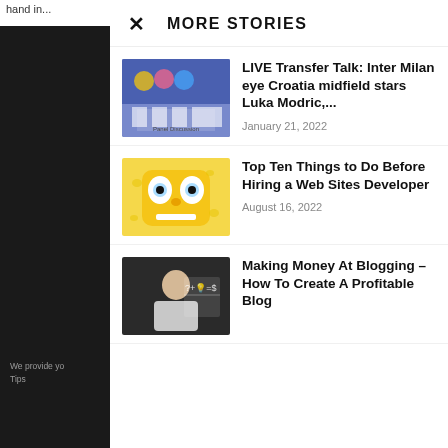hand in...
MORE STORIES
We provide yo
Tips
[Figure (photo): Panel discussion event photo with people seated on stage in front of a blue screen]
LIVE Transfer Talk: Inter Milan eye Croatia midfield stars Luka Modric,...
January 21, 2022
[Figure (illustration): Cartoon SpongeBob character on yellow background]
Top Ten Things to Do Before Hiring a Web Sites Developer
August 16, 2022
[Figure (photo): Person in suit writing on a transparent board with question mark, light bulb, dollar sign equations]
Making Money At Blogging – How To Create A Profitable Blog
Sales & Marketing Solutions
GlassHive
Open